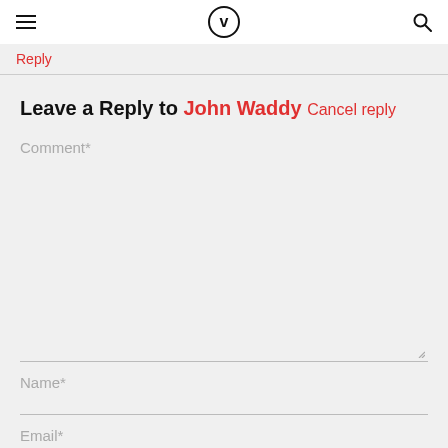≡ V 🔍
Reply
Leave a Reply to John Waddy Cancel reply
Comment*
Name*
Email*